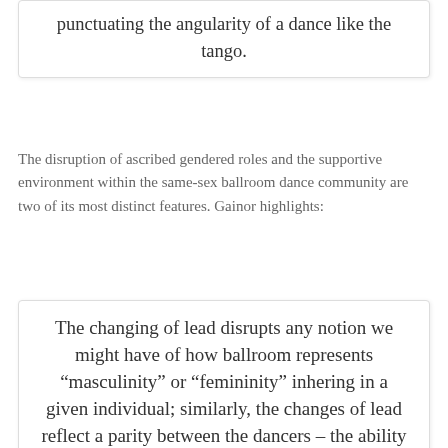punctuating the angularity of a dance like the tango.
The disruption of ascribed gendered roles and the supportive environment within the same-sex ballroom dance community are two of its most distinct features. Gainor highlights:
The changing of lead disrupts any notion we might have of how ballroom represents “masculinity” or “femininity” inhering in a given individual; similarly, the changes of lead reflect a parity between the dancers – the ability to move